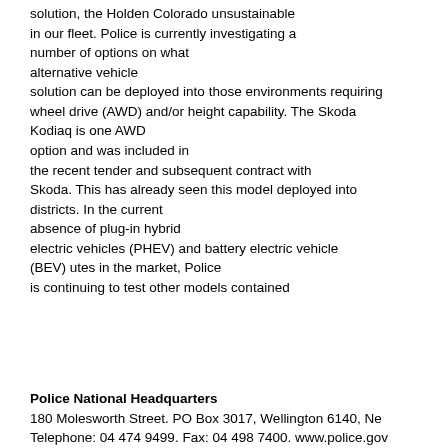solution, the Holden Colorado unsustainable in our fleet. Police is currently investigating a number of options on what alternative vehicle solution can be deployed into those environments requiring wheel drive (AWD) and/or height capability. The Skoda Kodiaq is one AWD option and was included in the recent tender and subsequent contract with Skoda. This has already seen this model deployed into districts. In the current absence of plug-in hybrid electric vehicles (PHEV) and battery electric vehicle (BEV) utes in the market, Police is continuing to test other models contained
Police National Headquarters
180 Molesworth Street. PO Box 3017, Wellington 6140, Ne
Telephone: 04 474 9499. Fax: 04 498 7400. www.police.gov